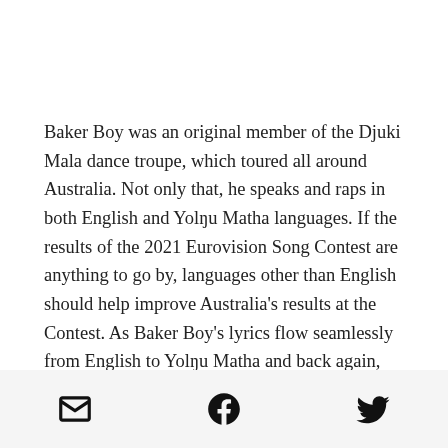Baker Boy was an original member of the Djuki Mala dance troupe, which toured all around Australia. Not only that, he speaks and raps in both English and Yolŋu Matha languages. If the results of the 2021 Eurovision Song Contest are anything to go by, languages other than English should help improve Australia's results at the Contest. As Baker Boy's lyrics flow seamlessly from English to Yolŋu Matha and back again, his rapping is sure to be a game-changer on the Eurovision
[email icon] [facebook icon] [twitter icon]